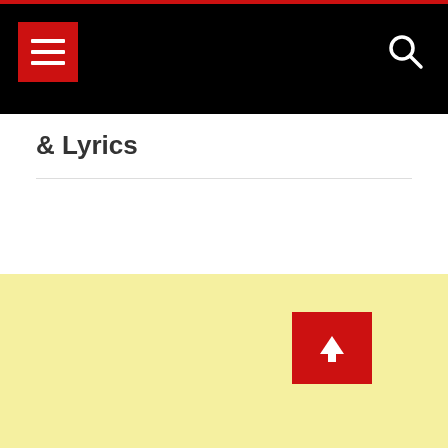& Lyrics
[Figure (screenshot): Navigation bar with red menu button (hamburger icon) on black background and white search icon on the right]
[Figure (screenshot): Back to top button - red square with white upward arrow]